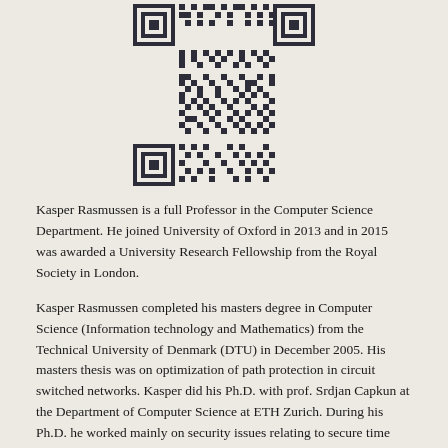[Figure (other): QR code — black and white matrix barcode, centered at top of page]
Kasper Rasmussen is a full Professor in the Computer Science Department. He joined University of Oxford in 2013 and in 2015 was awarded a University Research Fellowship from the Royal Society in London.
Kasper Rasmussen completed his masters degree in Computer Science (Information technology and Mathematics) from the Technical University of Denmark (DTU) in December 2005. His masters thesis was on optimization of path protection in circuit switched networks. Kasper did his Ph.D. with prof. Srdjan Capkun at the Department of Computer Science at ETH Zurich. During his Ph.D. he worked mainly on security issues relating to secure time synchronization and secure localization with a particular focus on distance bounding. After completing his Ph.D., Kasper worked as a post-doc at